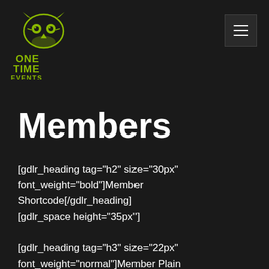[Figure (logo): One Time Events logo — stylized owl/tiger face in yellow-green with text ONE TIME EVENTS below in green]
[Figure (other): Hamburger menu button — dark square with three horizontal white lines]
Members
[gdlr_heading tag="h2" size="30px" font_weight="bold"]Member Shortcode[/gdlr_heading] [gdlr_space height="35px"]
[gdlr_heading tag="h3" size="22px" font_weight="normal"]Member Plain Style[/gdlr_heading] [gdlr_space height="30px"]